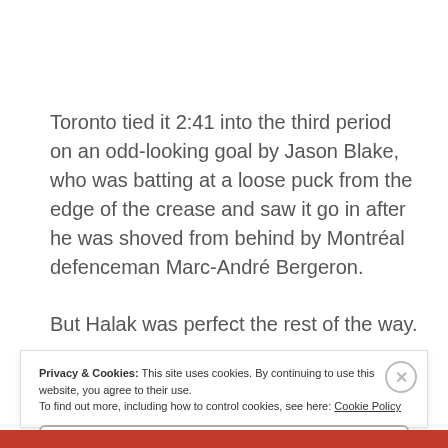Toronto tied it 2:41 into the third period on an odd-looking goal by Jason Blake, who was batting at a loose puck from the edge of the crease and saw it go in after he was shoved from behind by Montréal defenceman Marc-André Bergeron.
But Halak was perfect the rest of the way.
Privacy & Cookies: This site uses cookies. By continuing to use this website, you agree to their use. To find out more, including how to control cookies, see here: Cookie Policy
Close and accept